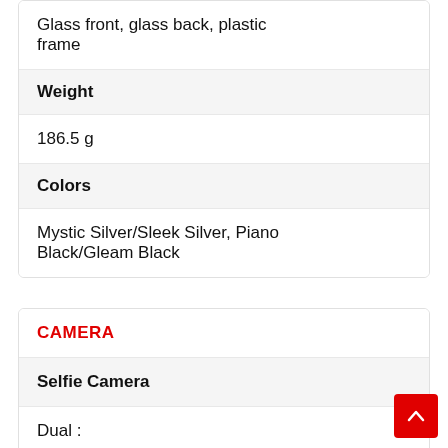Glass front, glass back, plastic frame
| Weight |  |
| 186.5 g |  |
| Colors |  |
| Mystic Silver/Sleek Silver, Piano Black/Gleam Black |  |
CAMERA
| Selfie Camera |  |
| Dual : |  |
| 32 MP (2.1, 22 mm, wide) |  |